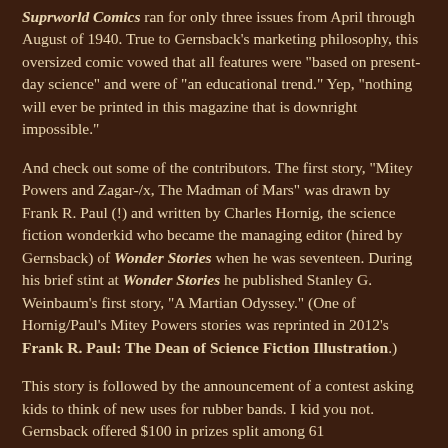Suprworld Comics ran for only three issues from April through August of 1940. True to Gernsback's marketing philosophy, this oversized comic vowed that all features were "based on present-day science" and were of "an educational trend." Yep, "nothing will ever be printed in this magazine that is downright impossible."
And check out some of the contributors. The first story, "Mitey Powers and Zagar-/x, The Madman of Mars" was drawn by Frank R. Paul (!) and written by Charles Hornig, the science fiction wonderkid who became the managing editor (hired by Gernsback) of Wonder Stories when he was seventeen. During his brief stint at Wonder Stories he published Stanley G. Weinbaum's first story, "A Martian Odyssey." (One of Hornig/Paul's Mitey Powers stories was reprinted in 2012's Frank R. Paul: The Dean of Science Fiction Illustration.)
This story is followed by the announcement of a contest asking kids to think of new uses for rubber bands. I kid you not. Gernsback offered $100 in prizes split among 61